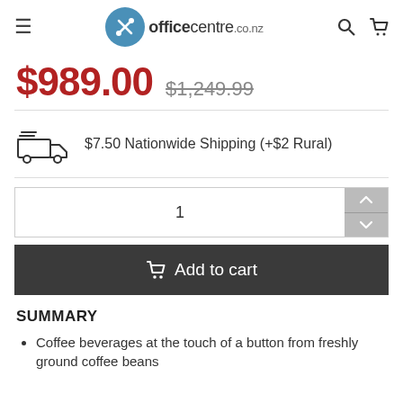officecentre.co.nz
$989.00  $1,249.99
$7.50 Nationwide Shipping (+$2 Rural)
1
Add to cart
SUMMARY
Coffee beverages at the touch of a button from freshly ground coffee beans